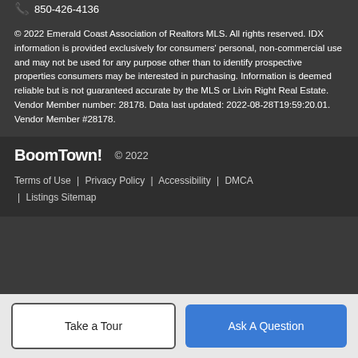850-426-4136
© 2022 Emerald Coast Association of Realtors MLS. All rights reserved. IDX information is provided exclusively for consumers' personal, non-commercial use and may not be used for any purpose other than to identify prospective properties consumers may be interested in purchasing. Information is deemed reliable but is not guaranteed accurate by the MLS or Livin Right Real Estate. Vendor Member number: 28178. Data last updated: 2022-08-28T19:59:20.01.
Vendor Member #28178.
BoomTown!  © 2022
Terms of Use | Privacy Policy | Accessibility | DMCA | Listings Sitemap
Take a Tour
Ask A Question